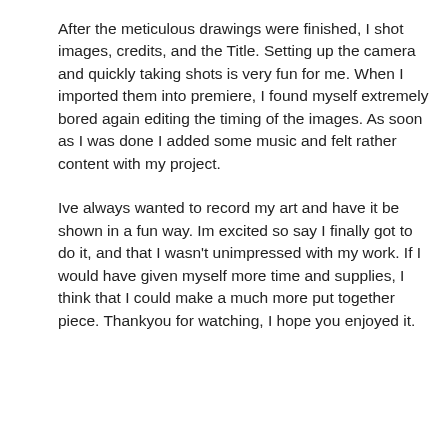After the meticulous drawings were finished, I shot images, credits, and the Title. Setting up the camera and quickly taking shots is very fun for me. When I imported them into premiere, I found myself extremely bored again editing the timing of the images. As soon as I was done I added some music and felt rather content with my project.
Ive always wanted to record my art and have it be shown in a fun way. Im excited so say I finally got to do it, and that I wasn't unimpressed with my work. If I would have given myself more time and supplies, I think that I could make a much more put together piece. Thankyou for watching, I hope you enjoyed it.